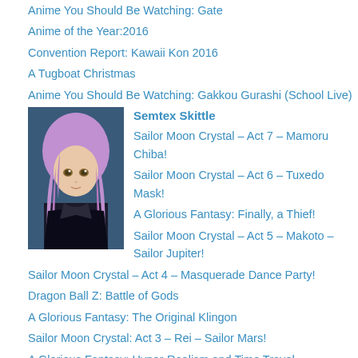Anime You Should Be Watching: Gate
Anime of the Year:2016
Convention Report: Kawaii Kon 2016
A Tugboat Christmas
Anime You Should Be Watching: Gakkou Gurashi (School Live)
[Figure (photo): Portrait of anime-style character with pink/purple hair]
Semtex Skittle
Sailor Moon Crystal – Act 7 – Mamoru Chiba!
Sailor Moon Crystal – Act 6 – Tuxedo Mask!
A Glorious Fantasy: Finally, a Thief!
Sailor Moon Crystal – Act 5 – Makoto – Sailor Jupiter!
Sailor Moon Crystal – Act 4 – Masquerade Dance Party!
Dragon Ball Z: Battle of Gods
A Glorious Fantasy: The Original Klingon
Sailor Moon Crystal: Act 3 – Rei – Sailor Mars!
A Glorious Fantasy: Hyper-Realism and Time Travel
Maximum Regression: DotP 2015
[Figure (photo): Abstract brown and white textured image]
Ryan C. (fourcolorapocalypse)
The Devil Is In The Details — But God Might Be, Too : David Tea's "Five Perennial Virtues" #12 :